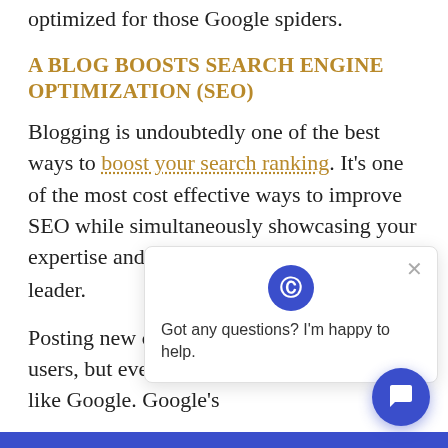optimized for those Google spiders.
A BLOG BOOSTS SEARCH ENGINE OPTIMIZATION (SEO)
Blogging is undoubtedly one of the best ways to boost your search ranking. It's one of the most cost effective ways to improve SEO while simultaneously showcasing your expertise and establishing your thought leader.
Posting new content consistently is great for users, but even greater for search engines like Google. Google's algorithm puts fresh content at the top
[Figure (other): Chat popup widget with logo icon and message 'Got any questions? I'm happy to help.' with a close X button, and a circular blue chat button in the bottom right corner.]